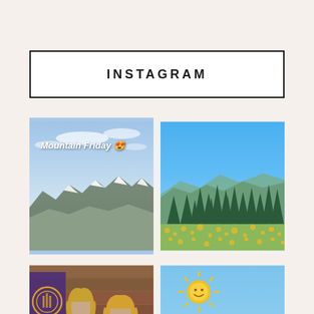INSTAGRAM
[Figure (photo): Outdoor mountain view with snowy peaks and blue sky, with text overlay 'Mountain Friday 😍']
[Figure (photo): Mountain landscape with evergreen trees and yellow wildflowers on a hillside under blue sky]
[Figure (photo): Two women posing in front of a wooden wall with University of Washington banner]
[Figure (photo): Light blue sky with sun emoji at top left and partial view of a person at bottom]